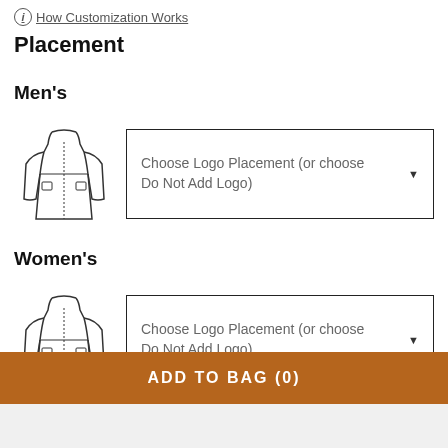ⓘ How Customization Works
Placement
Men's
[Figure (illustration): Line drawing of a men's jacket, front view, showing collar, zipper, chest panel, and side pockets]
Choose Logo Placement (or choose Do Not Add Logo)
Women's
[Figure (illustration): Line drawing of a women's jacket, front view, showing collar, zipper, chest panel, and side pockets]
Choose Logo Placement (or choose Do Not Add Logo)
ADD TO BAG (0)